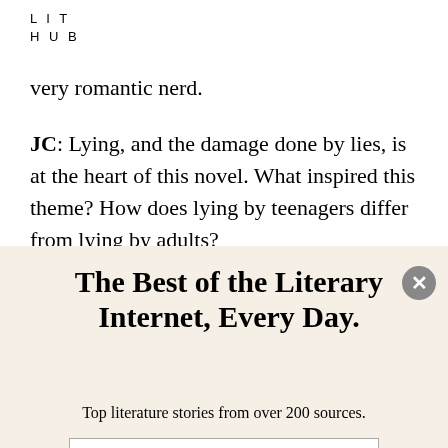LIT
HUB
very romantic nerd.
JC: Lying, and the damage done by lies, is at the heart of this novel. What inspired this theme? How does lying by teenagers differ from lying by adults?
The Best of the Literary Internet, Every Day.
Top literature stories from over 200 sources.